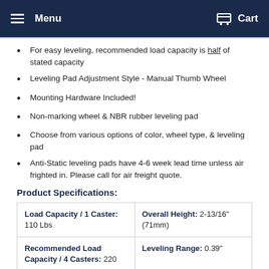Menu | Cart
For easy leveling, recommended load capacity is half of stated capacity
Leveling Pad Adjustment Style - Manual Thumb Wheel
Mounting Hardware Included!
Non-marking wheel & NBR rubber leveling pad
Choose from various options of color, wheel type, & leveling pad
Anti-Static leveling pads have 4-6 week lead time unless air frighted in. Please call for air freight quote.
Product Specifications:
| Load Capacity / 1 Caster: 110 Lbs | Overall Height: 2-13/16" (71mm) |
| Recommended Load Capacity / 4 Casters: 220 | Leveling Range: 0.39" |